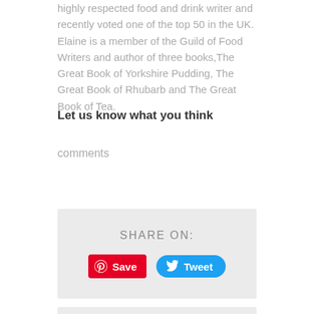highly respected food and drink writer and recently voted one of the top 50 in the UK. Elaine is a member of the Guild of Food Writers and author of three books,The Great Book of Yorkshire Pudding, The Great Book of Rhubarb and The Great Book of Tea.
Let us know what you think
comments
[Figure (infographic): A light grey box with centered text 'SHARE ON:' and two social share buttons: a Pinterest 'Save' button (red with Pinterest icon) and a Twitter 'Tweet' button (blue with bird icon).]
[Figure (infographic): Bottom grey box, partially visible, with an arrow icon.]